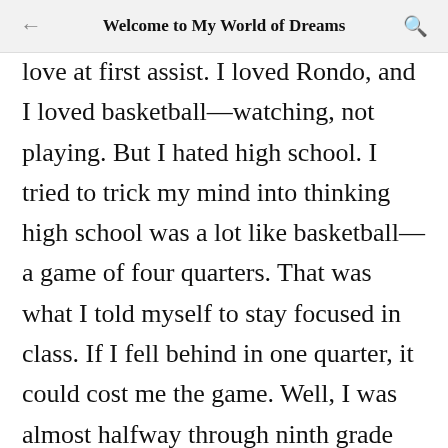Welcome to My World of Dreams
love at first assist. I loved Rondo, and I loved basketball—watching, not playing. But I hated high school. I tried to trick my mind into thinking high school was a lot like basketball—a game of four quarters. That was what I told myself to stay focused in class. If I fell behind in one quarter, it could cost me the game. Well, I was almost halfway through ninth grade and getting blown out. It had nothing to do with my grades. I knew how to study. What I didn't know how to do was socialize. And in high school, socializing was just as important as studying because if you didn't fit